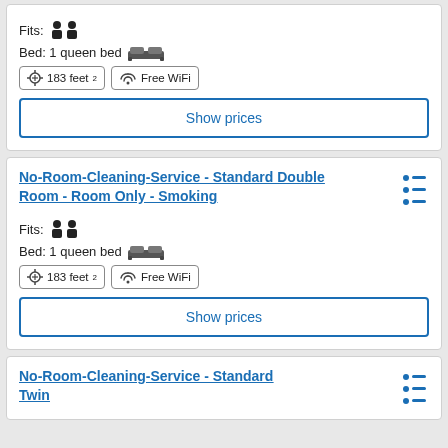Fits: (person icons x2)
Bed: 1 queen bed (bed icon)
183 feet²  Free WiFi
Show prices
No-Room-Cleaning-Service - Standard Double Room - Room Only - Smoking
Fits: (person icons x2)
Bed: 1 queen bed (bed icon)
183 feet²  Free WiFi
Show prices
No-Room-Cleaning-Service - Standard Twin